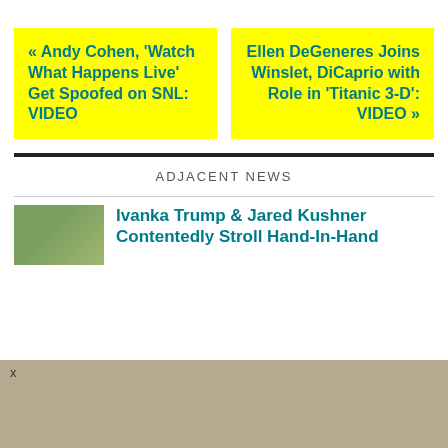« Andy Cohen, 'Watch What Happens Live' Get Spoofed on SNL: VIDEO
Ellen DeGeneres Joins Winslet, DiCaprio with Role in 'Titanic 3-D': VIDEO »
ADJACENT NEWS
Ivanka Trump & Jared Kushner Contentedly Stroll Hand-In-Hand